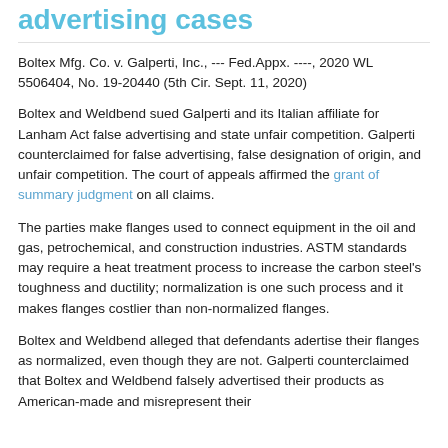advertising cases
Boltex Mfg. Co. v. Galperti, Inc., --- Fed.Appx. ----, 2020 WL 5506404, No. 19-20440 (5th Cir. Sept. 11, 2020)
Boltex and Weldbend sued Galperti and its Italian affiliate for Lanham Act false advertising and state unfair competition. Galperti counterclaimed for false advertising, false designation of origin, and unfair competition. The court of appeals affirmed the grant of summary judgment on all claims.
The parties make flanges used to connect equipment in the oil and gas, petrochemical, and construction industries. ASTM standards may require a heat treatment process to increase the carbon steel's toughness and ductility; normalization is one such process and it makes flanges costlier than non-normalized flanges.
Boltex and Weldbend alleged that defendants adertise their flanges as normalized, even though they are not. Galperti counterclaimed that Boltex and Weldbend falsely advertised their products as American-made and misrepresent their